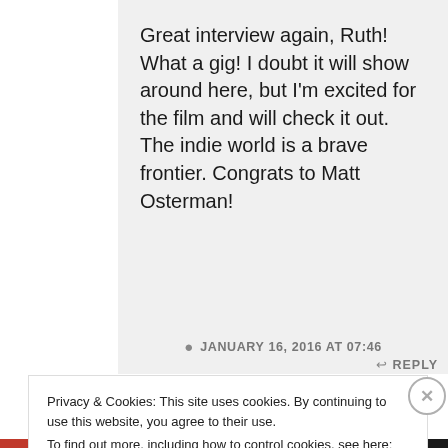Great interview again, Ruth! What a gig! I doubt it will show around here, but I'm excited for the film and will check it out. The indie world is a brave frontier. Congrats to Matt Osterman!
JANUARY 16, 2016 AT 07:46
REPLY
Privacy & Cookies: This site uses cookies. By continuing to use this website, you agree to their use.
To find out more, including how to control cookies, see here: Cookie Policy
Close and accept